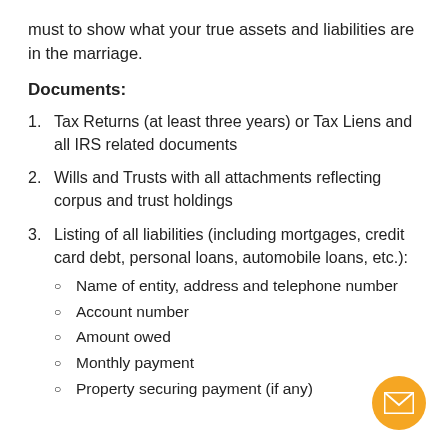must to show what your true assets and liabilities are in the marriage.
Documents:
Tax Returns (at least three years) or Tax Liens and all IRS related documents
Wills and Trusts with all attachments reflecting corpus and trust holdings
Listing of all liabilities (including mortgages, credit card debt, personal loans, automobile loans, etc.):
Name of entity, address and telephone number
Account number
Amount owed
Monthly payment
Property securing payment (if any)